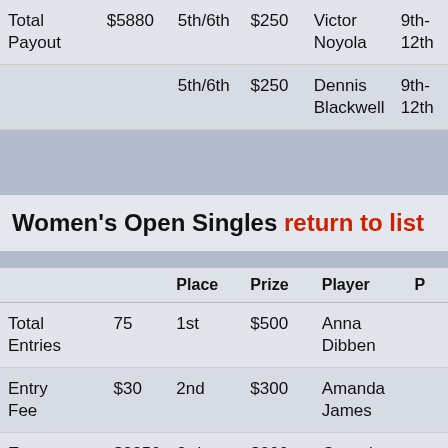|  |  | Place | Prize | Player |  |
| --- | --- | --- | --- | --- | --- |
| Total Payout |  | 5th/6th | $250 | Victor Noyola | 9th-12th |
|  |  | 5th/6th | $250 | Dennis Blackwell | 9th-12th |
Women's Open Singles return to list
|  |  | Place | Prize | Player |  |
| --- | --- | --- | --- | --- | --- |
| Total Entries | 75 | 1st | $500 | Anna Dibben |  |
| Entry Fee | $30 | 2nd | $300 | Amanda James |  |
| Entry | $2250 | 3rd | $200 | Georgia |  |